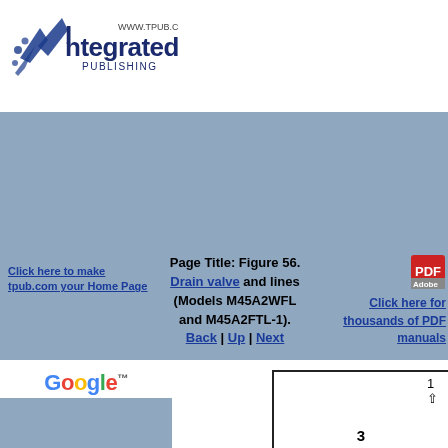[Figure (logo): Integrated Publishing logo with stylized bird/arrow graphic and www.tpub.com URL]
Click here to make tpub.com your Home Page
Page Title: Figure 56. Drain valve and lines (Models M45A2WFL and M45A2FTL-1). Back | Up | Next
[Figure (logo): Adobe PDF icon]
Click here for thousands of PDF manuals
[Figure (logo): Google search widget with search box, Web and www.tpub.com radio options]
[Figure (engineering-diagram): Partial engineering diagram showing numbered component 3 with an arrow indicator, partial view at bottom right]